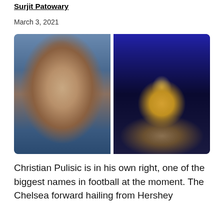Surjit Patowary
March 3, 2021
[Figure (photo): Left: close-up portrait of Christian Pulisic. Right: two people in a room with blue LED lighting and guns/military equipment displayed on walls and desk.]
Christian Pulisic is in his own right, one of the biggest names in football at the moment. The Chelsea forward hailing from Hershey